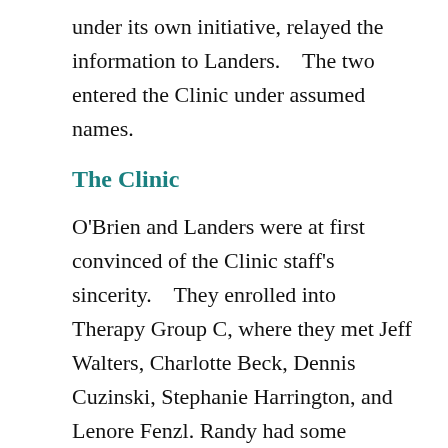under its own initiative, relayed the information to Landers.    The two entered the Clinic under assumed names.
The Clinic
O'Brien and Landers were at first convinced of the Clinic staff's sincerity.    They enrolled into Therapy Group C, where they met Jeff Walters, Charlotte Beck, Dennis Cuzinski, Stephanie Harrington, and Lenore Fenzl. Randy had some misgivings, as it seemed the Clinic was giving them a lot and asking nothing in return.